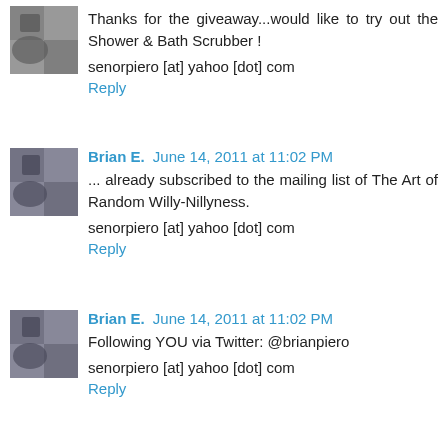Thanks for the giveaway...would like to try out the Shower & Bath Scrubber !
senorpiero [at] yahoo [dot] com
Reply
Brian E.  June 14, 2011 at 11:02 PM
... already subscribed to the mailing list of The Art of Random Willy-Nillyness.
senorpiero [at] yahoo [dot] com
Reply
Brian E.  June 14, 2011 at 11:02 PM
Following YOU via Twitter: @brianpiero
senorpiero [at] yahoo [dot] com
Reply